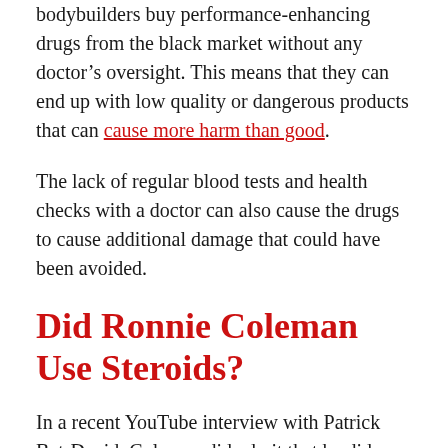bodybuilders buy performance-enhancing drugs from the black market without any doctor's oversight. This means that they can end up with low quality or dangerous products that can cause more harm than good.
The lack of regular blood tests and health checks with a doctor can also cause the drugs to cause additional damage that could have been avoided.
Did Ronnie Coleman Use Steroids?
In a recent YouTube interview with Patrick Bet-David, Coleman did admit that he did indeed use performance-enhancing drugs to get bigger. In fact, he told Patrick that it was an open secret and the only way to stand a